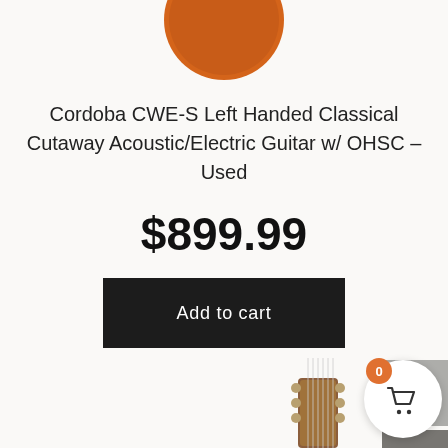[Figure (photo): Partial view of an orange/brown guitar body at the top of the page]
Cordoba CWE-S Left Handed Classical Cutaway Acoustic/Electric Guitar w/ OHSC – Used
$899.99
Add to cart
[Figure (screenshot): UI scroll-up arrow button (grey square with upward chevron)]
[Figure (screenshot): UI email/envelope button (dark grey square with envelope icon)]
[Figure (screenshot): Cart button with badge showing 0]
[Figure (photo): Partial view of guitar neck/headstock at bottom right]